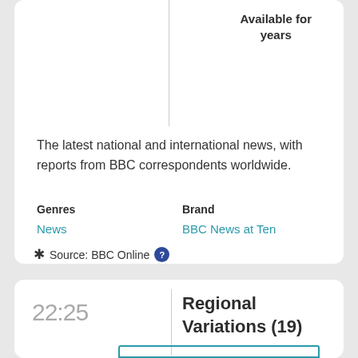Available for years
The latest national and international news, with reports from BBC correspondents worldwide.
Genres
Brand
News
BBC News at Ten
Source: BBC Online
22:25 Regional Variations (19)